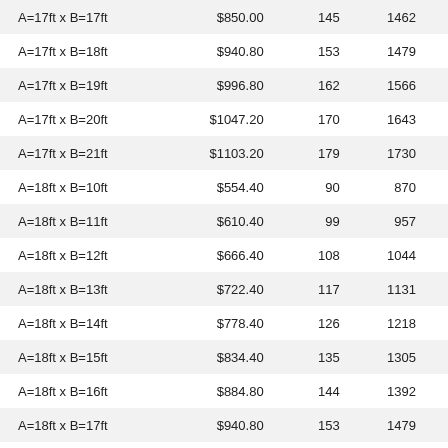| A=17ft x B=17ft | $850.00 | 145 | 1462 |
| A=17ft x B=18ft | $940.80 | 153 | 1479 |
| A=17ft x B=19ft | $996.80 | 162 | 1566 |
| A=17ft x B=20ft | $1047.20 | 170 | 1643 |
| A=17ft x B=21ft | $1103.20 | 179 | 1730 |
| A=18ft x B=10ft | $554.40 | 90 | 870 |
| A=18ft x B=11ft | $610.40 | 99 | 957 |
| A=18ft x B=12ft | $666.40 | 108 | 1044 |
| A=18ft x B=13ft | $722.40 | 117 | 1131 |
| A=18ft x B=14ft | $778.40 | 126 | 1218 |
| A=18ft x B=15ft | $834.40 | 135 | 1305 |
| A=18ft x B=16ft | $884.80 | 144 | 1392 |
| A=18ft x B=17ft | $940.80 | 153 | 1479 |